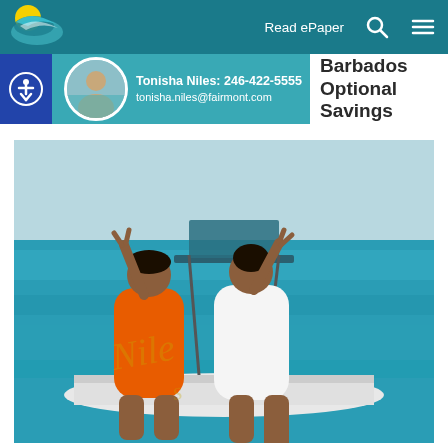Read ePaper
Tonisha Niles: 246-422-5555
tonisha.niles@fairmont.com
Barbados Optional Savings
[Figure (photo): Two women in swimsuits sitting on the back of a boat on turquoise water, smiling and making peace signs. One wears an orange swimsuit, the other white.]